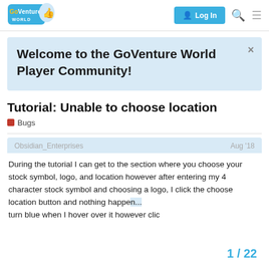GoVenture World — Log In
Welcome to the GoVenture World Player Community!
Tutorial: Unable to choose location
Bugs
Obsidian_Enterprises  Aug '18
During the tutorial I can get to the section where you choose your stock symbol, logo, and location however after entering my 4 character stock symbol and choosing a logo, I click the choose location button and nothing happen... turn blue when I hover over it however clic
1 / 22